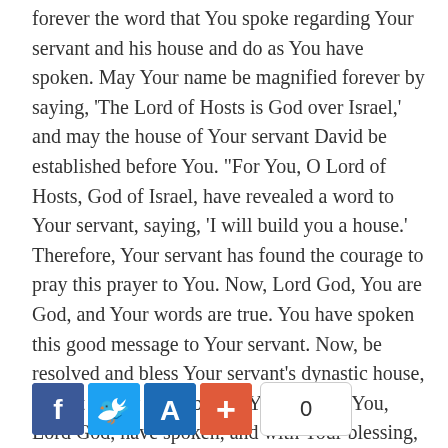forever the word that You spoke regarding Your servant and his house and do as You have spoken. May Your name be magnified forever by saying, 'The Lord of Hosts is God over Israel,' and may the house of Your servant David be established before You. "For You, O Lord of Hosts, God of Israel, have revealed a word to Your servant, saying, 'I will build you a house.' Therefore, Your servant has found the courage to pray this prayer to You. Now, Lord God, You are God, and Your words are true. You have spoken this good message to Your servant. Now, be resolved and bless Your servant's dynastic house, so that it may stand before You forever. You, Lord God, have spoken, and with Your blessing, the house of Your servant will be blessed forever."
[Figure (infographic): Social sharing buttons: Facebook (blue), Twitter (blue), font-size A (dark blue), add/plus (orange-red), and a share count showing 0]